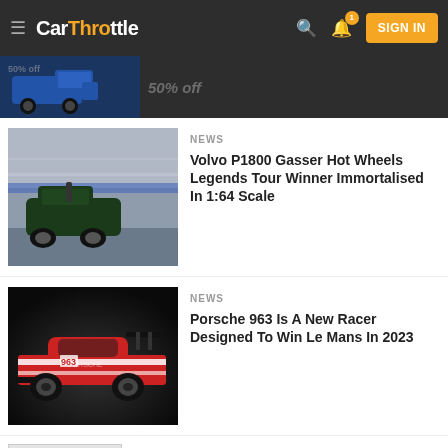CarThrottle — SIGN IN
[Figure (screenshot): Blue pickup truck thumbnail in dark header strip]
NEWS
Volvo P1800 Gasser Hot Wheels Legends Tour Winner Immortalised In 1:64 Scale
[Figure (photo): Vintage dark green Volvo P1800 Gasser race car on track]
NEWS
Porsche 963 Is A New Racer Designed To Win Le Mans In 2023
[Figure (photo): Red and white Porsche 963 Le Mans prototype on dark background]
23 Most Expensive Beanie Babies: From $1,200 To $6...
[Figure (screenshot): 23 Most Expensive Beanie Babies placeholder image]